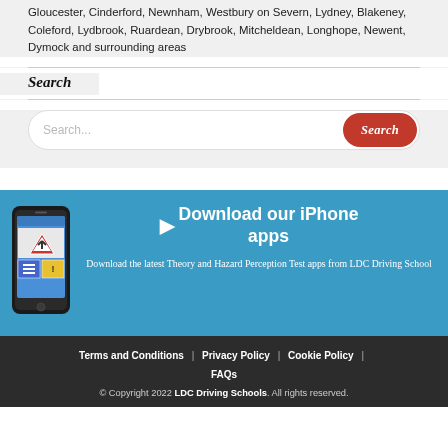Gloucester, Cinderford, Newnham, Westbury on Severn, Lydney, Blakeney, Coleford, Lydbrook, Ruardean, Drybrook, Mitcheldean, Longhope, Newent, Dymock and surrounding areas
Search
[Figure (screenshot): iPhone with driving theory test app displayed on screen, showing road signs and hazard perception content]
Download our iPhone apps
Download the latest Theory and Hazard Perception Test apps from LDC Driving School
Terms and Conditions | Privacy Policy | Cookie Policy | FAQs
© Copyright 2022 LDC Driving Schools. All rights reserved.